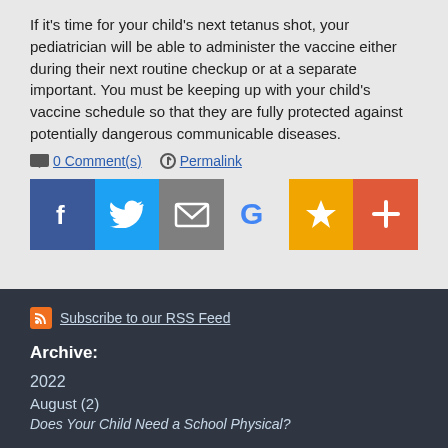If it's time for your child's next tetanus shot, your pediatrician will be able to administer the vaccine either during their next routine checkup or at a separate important. You must be keeping up with your child's vaccine schedule so that they are fully protected against potentially dangerous communicable diseases.
0 Comment(s)   Permalink
[Figure (infographic): Row of social sharing buttons: Facebook (blue), Twitter (light blue), Email (gray), Google (white/blue G), Favorites star (gold), Plus (red-orange)]
Subscribe to our RSS Feed
Archive:
2022
August (2)
Does Your Child Need a School Physical?